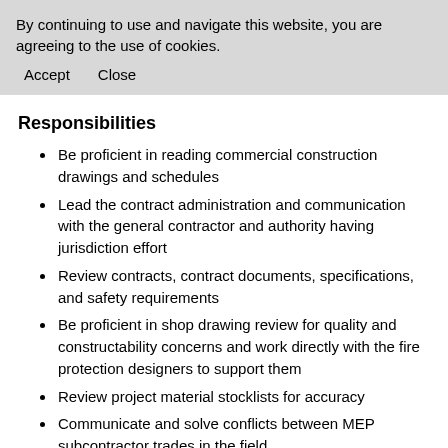By continuing to use and navigate this website, you are agreeing to the use of cookies.
Accept   Close
Responsibilities
Be proficient in reading commercial construction drawings and schedules
Lead the contract administration and communication with the general contractor and authority having jurisdiction effort
Review contracts, contract documents, specifications, and safety requirements
Be proficient in shop drawing review for quality and constructability concerns and work directly with the fire protection designers to support them
Review project material stocklists for accuracy
Communicate and solve conflicts between MEP subcontractor trades in the field
Field engineering troubleshooting and support for